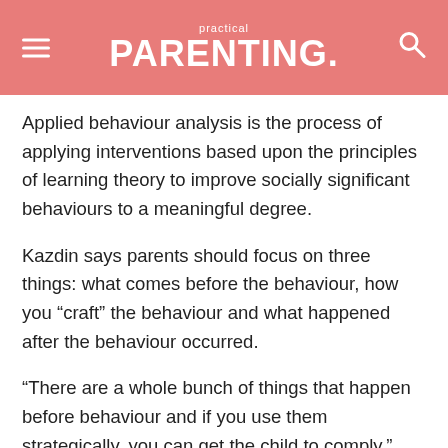practical PARENTING.
Applied behaviour analysis is the process of applying interventions based upon the principles of learning theory to improve socially significant behaviours to a meaningful degree.
Kazdin says parents should focus on three things: what comes before the behaviour, how you “craft” the behaviour and what happened after the behaviour occurred.
“There are a whole bunch of things that happen before behaviour and if you use them strategically, you can get the child to comply,” writes Olga Khazan for The Atlantic.